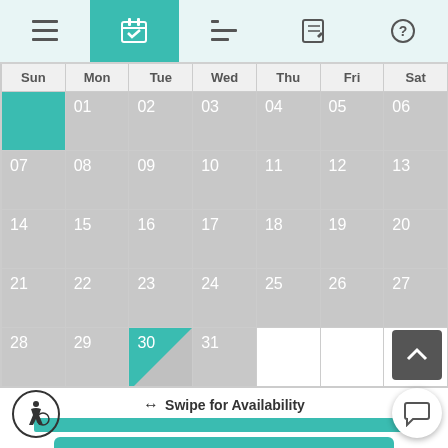[Figure (screenshot): Mobile app calendar view with navigation icons at top (menu, calendar, list, edit, help), a monthly calendar grid showing days 01-31 with day 01 highlighted teal and day 30 split teal/gray. Below the calendar is a 'Swipe for Availability' hint, an availability bar, and a 'GET MY QUOTE' button. Accessibility icon bottom-left, scroll-to-top and chat icons bottom-right.]